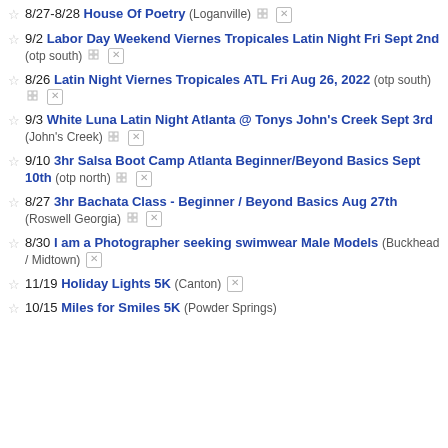8/27-8/28 House Of Poetry (Loganville)
9/2 Labor Day Weekend Viernes Tropicales Latin Night Fri Sept 2nd (otp south)
8/26 Latin Night Viernes Tropicales ATL Fri Aug 26, 2022 (otp south)
9/3 White Luna Latin Night Atlanta @ Tonys John's Creek Sept 3rd (John's Creek)
9/10 3hr Salsa Boot Camp Atlanta Beginner/Beyond Basics Sept 10th (otp north)
8/27 3hr Bachata Class - Beginner / Beyond Basics Aug 27th (Roswell Georgia)
8/30 I am a Photographer seeking swimwear Male Models (Buckhead / Midtown)
11/19 Holiday Lights 5K (Canton)
10/15 Miles for Smiles 5K (Powder Springs)